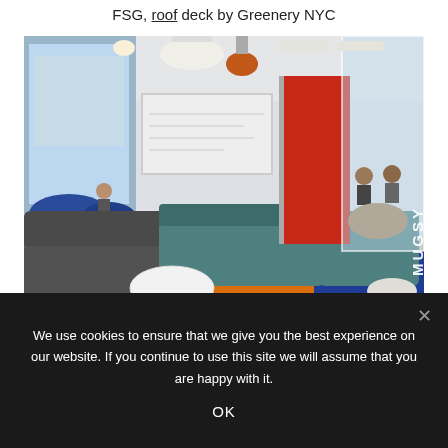FSG, roof deck by Greenery NYC
[Figure (photo): Interior office photo showing a modern open workspace with teal sofas, dark couches, orange carpet, blue carpet, a red wall panel, glass walls with MUGSY text, pendant lighting including an orange pendant, a whiteboard, and a lounge area with blue bean bag chairs visible through a doorway.]
We use cookies to ensure that we give you the best experience on our website. If you continue to use this site we will assume that you are happy with it.
OK